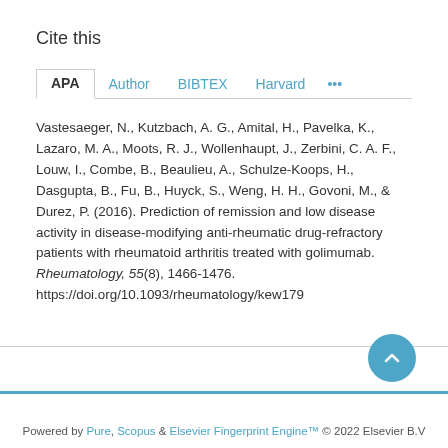Cite this
APA  Author  BIBTEX  Harvard  ...
Vastesaeger, N., Kutzbach, A. G., Amital, H., Pavelka, K., Lazaro, M. A., Moots, R. J., Wollenhaupt, J., Zerbini, C. A. F., Louw, I., Combe, B., Beaulieu, A., Schulze-Koops, H., Dasgupta, B., Fu, B., Huyck, S., Weng, H. H., Govoni, M., & Durez, P. (2016). Prediction of remission and low disease activity in disease-modifying anti-rheumatic drug-refractory patients with rheumatoid arthritis treated with golimumab. Rheumatology, 55(8), 1466-1476. https://doi.org/10.1093/rheumatology/kew179
Powered by Pure, Scopus & Elsevier Fingerprint Engine™ © 2022 Elsevier B.V